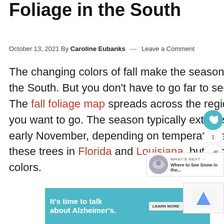Foliage in the South
October 13, 2021 By Caroline Eubanks — Leave a Comment
The changing colors of fall make the season ideal for traveling around the South. But you don't have to go far to see this stunning foliage. The fall foliage map spreads across the region, depending on when you want to go. The season typically extends from late September to early November, depending on temperatures. There aren't many of these trees in Florida and Louisiana, but in other states, you'll find fall colors.
[Figure (infographic): Social sharing widget with heart button (teal), count of 1, and share icon]
[Figure (infographic): What's Next callout showing a circular image and text: Where to See Snow in the...]
[Figure (infographic): Advertisement banner: It's time to talk about Alzheimer's. with Learn More button and Alzheimer's Association logo]